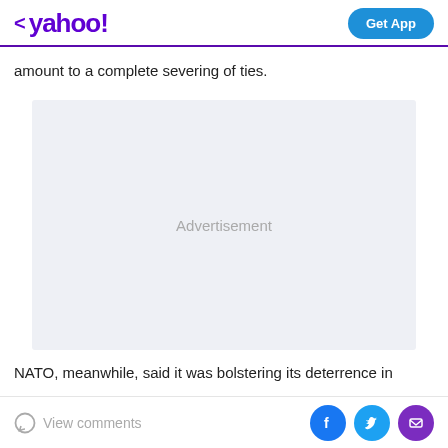< yahoo! | Get App
amount to a complete severing of ties.
[Figure (other): Advertisement placeholder box with light gray background and centered 'Advertisement' label text]
NATO, meanwhile, said it was bolstering its deterrence in
View comments | [Facebook] [Twitter] [Email]